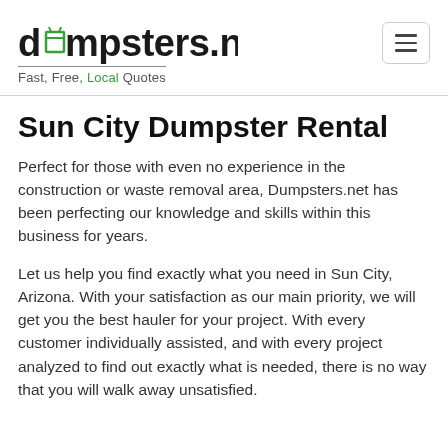dumpsters.net — Fast, Free, Local Quotes
Sun City Dumpster Rental
Perfect for those with even no experience in the construction or waste removal area, Dumpsters.net has been perfecting our knowledge and skills within this business for years.
Let us help you find exactly what you need in Sun City, Arizona. With your satisfaction as our main priority, we will get you the best hauler for your project. With every customer individually assisted, and with every project analyzed to find out exactly what is needed, there is no way that you will walk away unsatisfied.